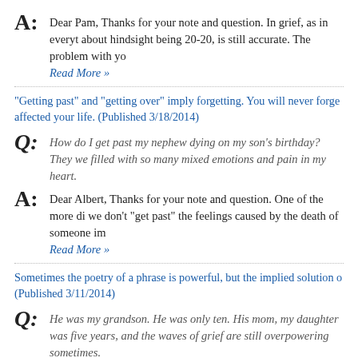A: Dear Pam, Thanks for your note and question. In grief, as in everyt about hindsight being 20-20, is still accurate. The problem with yo
Read More »
“Getting past” and “getting over” imply forgetting. You will never forge affected your life. (Published 3/18/2014)
Q: How do I get past my nephew dying on my son’s birthday? They we filled with so many mixed emotions and pain in my heart.
A: Dear Albert, Thanks for your note and question. One of the more di we don’t “get past” the feelings caused by the death of someone im
Read More »
Sometimes the poetry of a phrase is powerful, but the implied solution o (Published 3/11/2014)
Q: He was my grandson. He was only ten. His mom, my daughter was five years, and the waves of grief are still overpowering sometimes.